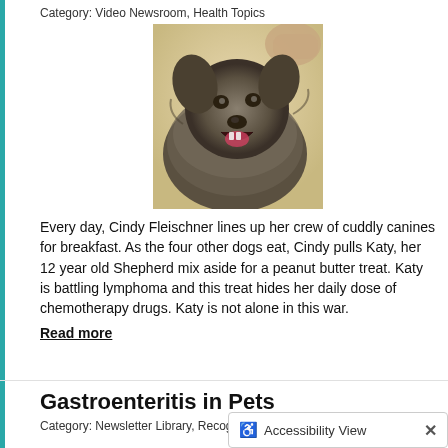Category: Video Newsroom, Health Topics
[Figure (photo): A fluffy gray dog (Shepherd mix) with mouth open, being petted by a human hand]
Every day, Cindy Fleischner lines up her crew of cuddly canines for breakfast. As the four other dogs eat, Cindy pulls Katy, her 12 year old Shepherd mix aside for a peanut butter treat. Katy is battling lymphoma and this treat hides her daily dose of chemotherapy drugs. Katy is not alone in this war.
Read more
Gastroenteritis in Pets
Category: Newsletter Library, Recognizing Illness